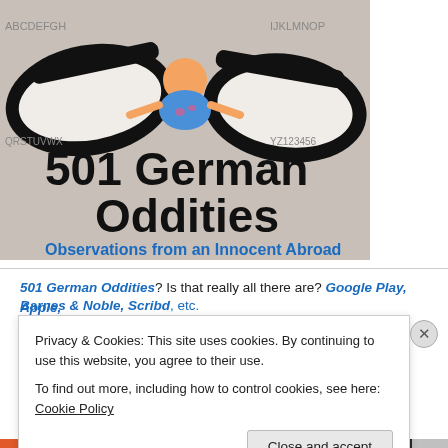[Figure (illustration): Book cover illustration showing a cartoon character lying between two oversized glasses/sandals. Title '501 German Oddities' in large black bold text, subtitle 'Observations from an Innocent Abroad' in blue bold text.]
501 German Oddities? Is that really all there are? Google Play, Apple, Barnes & Noble, Scribd, etc.
Privacy & Cookies: This site uses cookies. By continuing to use this website, you agree to their use.
To find out more, including how to control cookies, see here: Cookie Policy
Close and accept